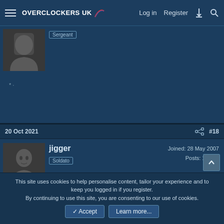Overclockers UK — Log in  Register
[Figure (photo): Partial view of a forum post with user avatar (person in dark jacket) and a role badge]
* ·
20 Oct 2021   #18
[Figure (photo): Forum post user avatar for jigger — monochrome photo of a man]
jigger  Joined: 28 May 2007  Posts: 16,797  Soldato
This site uses cookies to help personalise content, tailor your experience and to keep you logged in if you register.
By continuing to use this site, you are consenting to our use of cookies.
✓ Accept   Learn more...